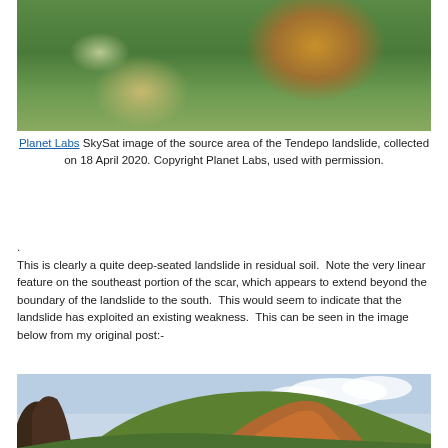[Figure (photo): Aerial satellite view of the Tendepo landslide source area, showing green vegetation with a prominent orange/brown exposed soil area from the landslide scar, captured by Planet Labs SkySat.]
Planet Labs SkySat image of the source area of the Tendepo landslide, collected on 18 April 2020. Copyright Planet Labs, used with permission.
.
This is clearly a quite deep-seated landslide in residual soil.  Note the very linear feature on the southeast portion of the scar, which appears to extend beyond the boundary of the landslide to the south.  This would seem to indicate that the landslide has exploited an existing weakness.  This can be seen in the image below from my original post:-
[Figure (photo): Ground-level photograph of the Tendepo landslide showing exposed brown/red soil on a hillside with blue sky and green vegetation in the background.]